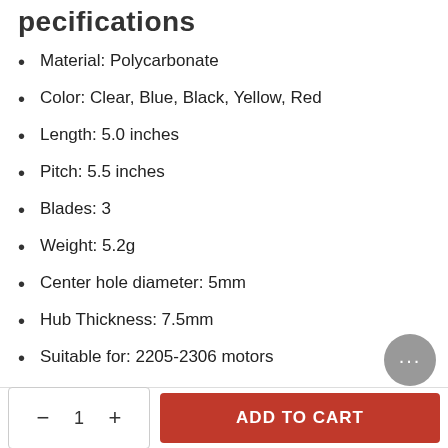pecifications
Material: Polycarbonate
Color: Clear, Blue, Black, Yellow, Red
Length: 5.0 inches
Pitch: 5.5 inches
Blades: 3
Weight: 5.2g
Center hole diameter: 5mm
Hub Thickness: 7.5mm
Suitable for: 2205-2306 motors
POPO Compatible: YES
Includes
2 x CW Gemfan 5055S Propellers
2 x CCW Gemfan 5055S Propellers